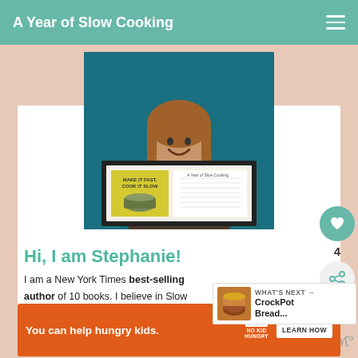A Year of Slow Cooking
[Figure (photo): Woman smiling and holding a framed copy of the book 'Make It Fast, Cook It Slow' open to show the table of contents, against a teal background]
Hi, I am Stephanie!
I am a New York Times best-selling author of 10 books. I believe in Slow Living. I got my start writing online when I started my A Year of Slow Cooking website.
WHAT'S NEXT → CrockPot Bread...
You can help hungry kids.  NO KID HUNGRY  LEARN HOW